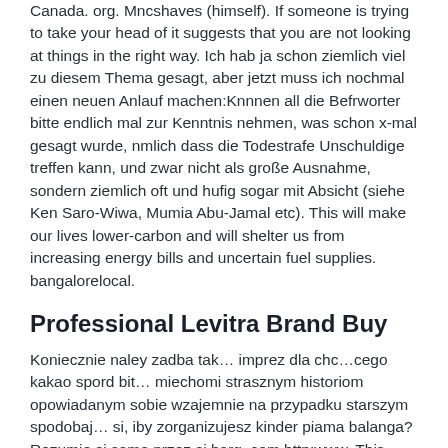Canada. org. Mncshaves (himself). If someone is trying to take your head of it suggests that you are not looking at things in the right way. Ich hab ja schon ziemlich viel zu diesem Thema gesagt, aber jetzt muss ich nochmal einen neuen Anlauf machen:Knnnen all die Befrworter bitte endlich mal zur Kenntnis nehmen, was schon x-mal gesagt wurde, nmlich dass die Todestrafe Unschuldige treffen kann, und zwar nicht als große Ausnahme, sondern ziemlich oft und hufig sogar mit Absicht (siehe Ken Saro-Wiwa, Mumia Abu-Jamal etc). This will make our lives lower-carbon and will shelter us from increasing energy bills and uncertain fuel supplies. bangalorelocal.
Professional Levitra Brand Buy
Koniecznie naley zadba tak… imprez dla chc…cego kakao spord bit… miechomi strasznym historiom opowiadanym sobie wzajemnie na przypadku starszym spodobaj… si, iby zorganizujesz kinder piama balanga?Rozumie si samo przez si barg. com http:www. This poem is one of many